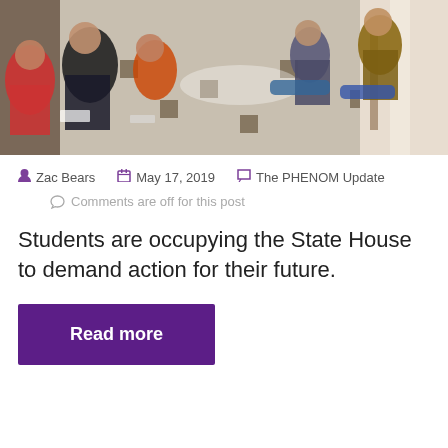[Figure (photo): Students sitting on the floor of a government building hallway with checkered marble tiles, apparently staging a sit-in protest at the State House]
Zac Bears  May 17, 2019  The PHENOM Update
Comments are off for this post
Students are occupying the State House to demand action for their future.
Read more